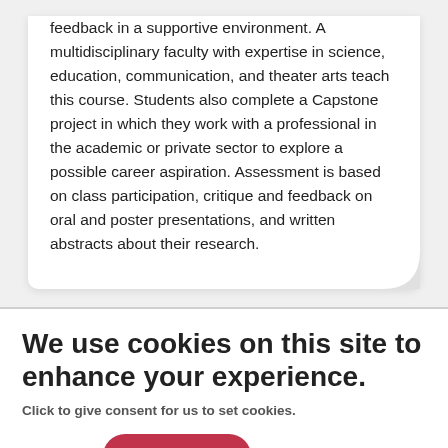feedback in a supportive environment. A multidisciplinary faculty with expertise in science, education, communication, and theater arts teach this course. Students also complete a Capstone project in which they work with a professional in the academic or private sector to explore a possible career aspiration. Assessment is based on class participation, critique and feedback on oral and poster presentations, and written abstracts about their research.
We use cookies on this site to enhance your experience.
Click to give consent for us to set cookies.
More info
OK, I agree